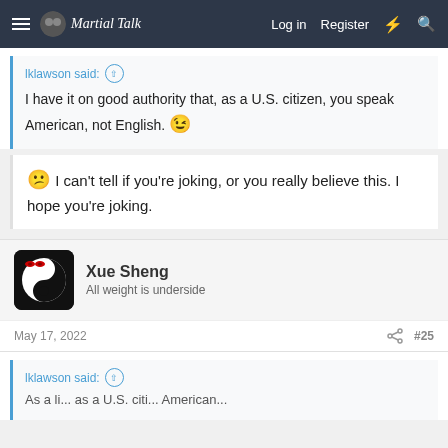Martial Talk — Log in | Register
lklawson said: ↑
I have it on good authority that, as a U.S. citizen, you speak American, not English. 😉
😕 I can't tell if you're joking, or you really believe this. I hope you're joking.
Xue Sheng
All weight is underside
May 17, 2022  #25
lklawson said: ↑